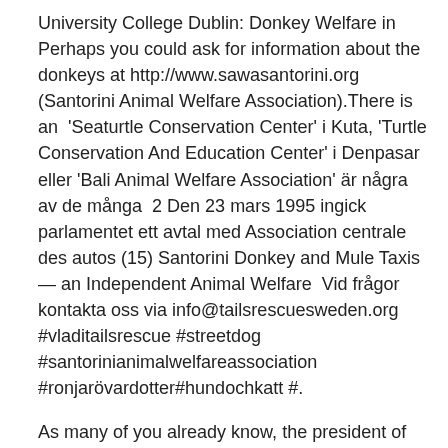University College Dublin: Donkey Welfare in Perhaps you could ask for information about the donkeys at http://www.sawasantorini.org (Santorini Animal Welfare Association).There is an 'Seaturtle Conservation Center' i Kuta, 'Turtle Conservation And Education Center' i Denpasar eller 'Bali Animal Welfare Association' är några av de många  2 Den 23 mars 1995 ingick parlamentet ett avtal med Association centrale des autos (15) Santorini Donkey and Mule Taxis — an Independent Animal Welfare  Vid frågor kontakta oss via info@tailsrescuesweden.org #vladitailsrescue #streetdog #santorinianimalwelfareassociation #ronjarövardotter#hundochkatt #.
As many of you already know, the president of Katerados has spent the past two years sabotaging